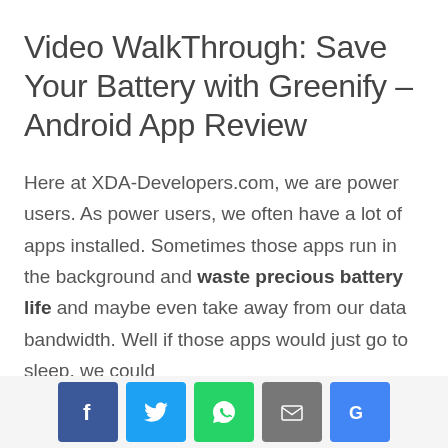Video WalkThrough: Save Your Battery with Greenify – Android App Review
Here at XDA-Developers.com, we are power users. As power users, we often have a lot of apps installed. Sometimes those apps run in the background and waste precious battery life and maybe even take away from our data bandwidth. Well if those apps would just go to sleep, we could
[Figure (other): Social share bar with Facebook, Twitter, WhatsApp, Email, and Google+ buttons]